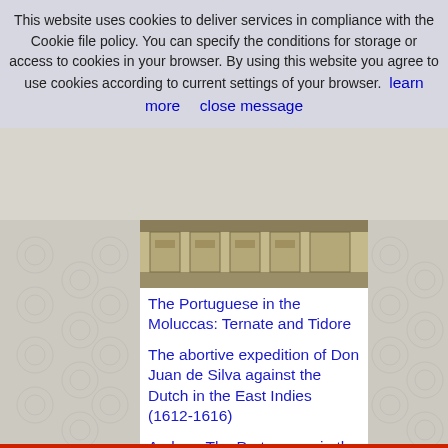This website uses cookies to deliver services in compliance with the Cookie file policy. You can specify the conditions for storage or access to cookies in your browser. By using this website you agree to use cookies according to current settings of your browser.  learn more      close message
[Figure (photo): Partial view of a historical engraving or map showing an architectural/fortification plan]
The Portuguese in the Moluccas: Ternate and Tidore
The abortive expedition of Don Juan de Silva against the Dutch in the East Indies (1612-1616)
Ambon: The Portuguese in the Moluccas, Indonesia
The Portuguese fort of Ternate
Makassar and the Portuguese